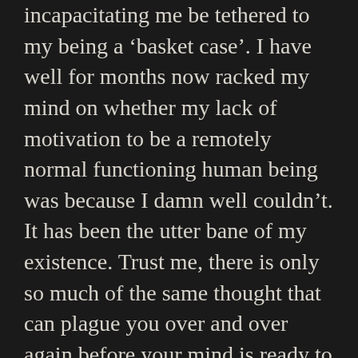incapacitating me be tethered to my being a 'basket case'. I have well for months now racked my mind on whether my lack of motivation to be a remotely normal functioning human being was because I damn well couldn't. It has been the utter bane of my existence. Trust me, there is only so much of the same thought that can plague you over and over again before your mind is ready to jump over the deep end.
I believe it is not stated enough how the term depression sometimes tends to feel a tad bit too linear. For me at least, it no longer embodies the tumultuous nature and degree of detachment